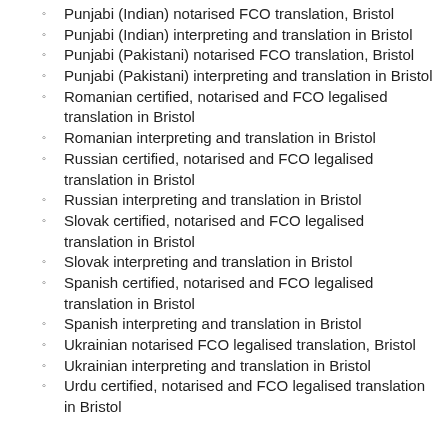Punjabi (Indian) notarised FCO translation, Bristol
Punjabi (Indian) interpreting and translation in Bristol
Punjabi (Pakistani) notarised FCO translation, Bristol
Punjabi (Pakistani) interpreting and translation in Bristol
Romanian certified, notarised and FCO legalised translation in Bristol
Romanian interpreting and translation in Bristol
Russian certified, notarised and FCO legalised translation in Bristol
Russian interpreting and translation in Bristol
Slovak certified, notarised and FCO legalised translation in Bristol
Slovak interpreting and translation in Bristol
Spanish certified, notarised and FCO legalised translation in Bristol
Spanish interpreting and translation in Bristol
Ukrainian notarised FCO legalised translation, Bristol
Ukrainian interpreting and translation in Bristol
Urdu certified, notarised and FCO legalised translation in Bristol